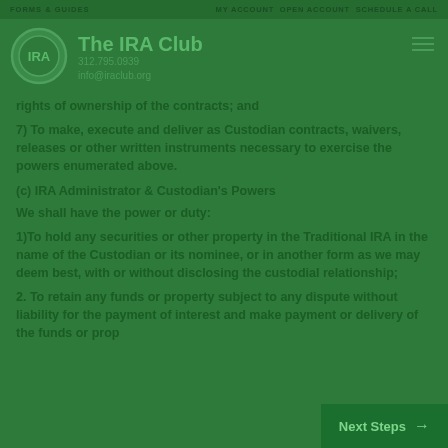FORMS & GUIDES   MY ACCOUNT  OPEN ACCOUNT  SCHEDULE A CALL
[Figure (logo): The IRA Club circular logo with IRA text inside]
The IRA Club
312.795.0939
info@iraclub.org
rights of ownership of the contracts; and
7) To make, execute and deliver as Custodian contracts, waivers, releases or other written instruments necessary to exercise the powers enumerated above.
(c) IRA Administrator & Custodian's Powers
We shall have the power or duty:
1)To hold any securities or other property in the Traditional IRA in the name of the Custodian or its nominee, or in another form as we may deem best, with or without disclosing the custodial relationship;
2. To retain any funds or property subject to any dispute without liability for the payment of interest and to make payment or delivery of the funds or prop